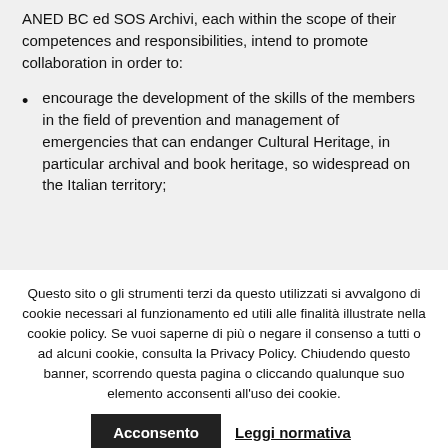ANED BC ed SOS Archivi, each within the scope of their competences and responsibilities, intend to promote collaboration in order to:
encourage the development of the skills of the members in the field of prevention and management of emergencies that can endanger Cultural Heritage, in particular archival and book heritage, so widespread on the Italian territory;
Questo sito o gli strumenti terzi da questo utilizzati si avvalgono di cookie necessari al funzionamento ed utili alle finalità illustrate nella cookie policy. Se vuoi saperne di più o negare il consenso a tutti o ad alcuni cookie, consulta la Privacy Policy. Chiudendo questo banner, scorrendo questa pagina o cliccando qualunque suo elemento acconsenti all'uso dei cookie.